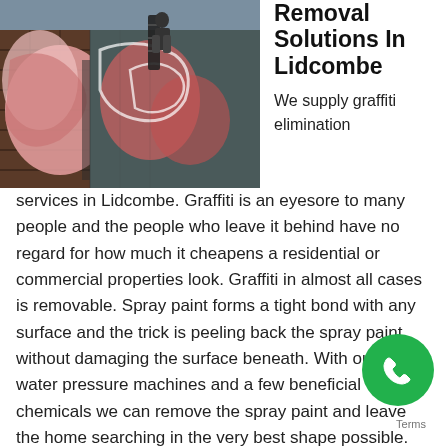[Figure (photo): Person on a ladder working on a large graffiti-covered wall with colorful spray paint artwork]
Graffiti Removal Solutions In Lidcombe
We supply graffiti elimination services in Lidcombe. Graffiti is an eyesore to many people and the people who leave it behind have no regard for how much it cheapens a residential or commercial properties look. Graffiti in almost all cases is removable. Spray paint forms a tight bond with any surface and the trick is peeling back the spray paint without damaging the surface beneath. With our hot water pressure machines and a few beneficial chemicals we can remove the spray paint and leave the home searching in the very best shape possible. Our graffiti elimination staff are the same persons manage our pressure machines daily, this suggests don't have to stress over the surface being additional